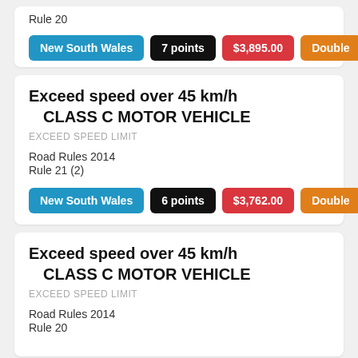Rule 20
New South Wales | 7 points | $3,895.00 | Double
Exceed speed over 45 km/h CLASS C MOTOR VEHICLE
EXCEED SPEED LIMIT
Road Rules 2014
Rule 21 (2)
New South Wales | 6 points | $3,762.00 | Double
Exceed speed over 45 km/h CLASS C MOTOR VEHICLE
EXCEED SPEED LIMIT
Road Rules 2014
Rule 20